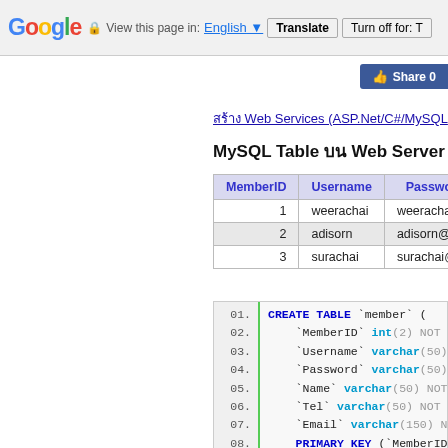Google | View this page in: English | Translate | Turn off for: T
[Figure (screenshot): Facebook Share button with count]
สร้าง Web Services (ASP.Net/C#/MySQL...
MySQL Table บน Web Server
| MemberID | Username | Password |  |
| --- | --- | --- | --- |
| 1 | weerachai | weerachai@1 | Wee... |
| 2 | adisorn | adisorn@2 | Adis... |
| 3 | surachai | surachai@3 | Sura... |
CREATE TABLE `member` (
  `MemberID` int(2) NOT NUL...
  `Username` varchar(50) NOT...
  `Password` varchar(50) NOT...
  `Name` varchar(50) NOT NU...
  `Tel` varchar(50) NOT NUL...
  `Email` varchar(150) NOT ...
  PRIMARY KEY (`MemberID`)...
  UNIQUE KEY `Username` (`U...
  UNIQUE KEY `Email` (`Email...
) ENGINE=MyISAM DEFAULT CHA...